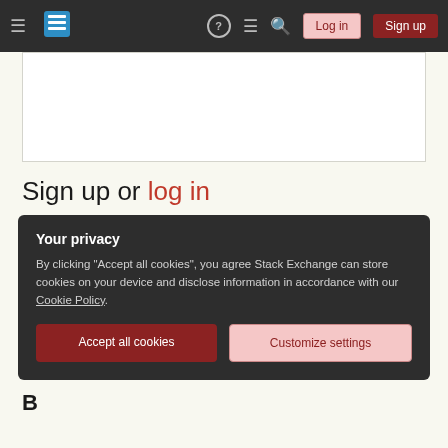Stack Exchange navigation bar with Log in and Sign up buttons
[Figure (screenshot): White blank content box]
Sign up or log in
Your privacy
By clicking "Accept all cookies", you agree Stack Exchange can store cookies on your device and disclose information in accordance with our Cookie Policy.
Accept all cookies  Customize settings